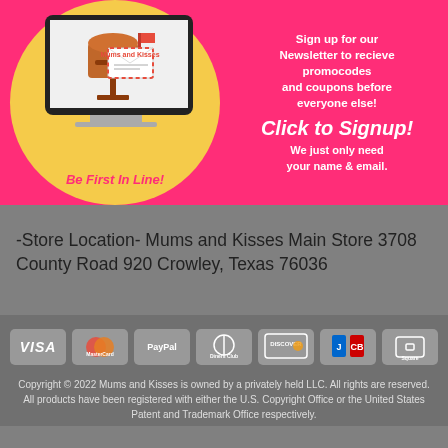[Figure (illustration): Pink banner with yellow circle containing mailbox illustration labeled 'Mums and Kisses' and text 'Be First In Line!' on the left side, and newsletter signup call-to-action text on the right side including 'Sign up for our Newsletter to recieve promocodes and coupons before everyone else!', 'Click to Signup!', and 'We just only need your name & email.']
-Store Location- Mums and Kisses Main Store 3708 County Road 920 Crowley, Texas 76036
[Figure (logo): Payment method icons: VISA, MasterCard, PayPal, Diners Club, Discover, JCB, Square]
Copyright © 2022 Mums and Kisses is owned by a privately held LLC. All rights are reserved. All products have been registered with either the U.S. Copyright Office or the United States Patent and Trademark Office respectively.